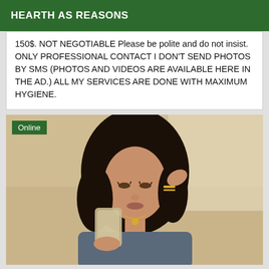HEARTH AS REASONS
150$. NOT NEGOTIABLE Please be polite and do not insist. ONLY PROFESSIONAL CONTACT I DON'T SEND PHOTOS BY SMS (PHOTOS AND VIDEOS ARE AVAILABLE HERE IN THE AD.) ALL MY SERVICES ARE DONE WITH MAXIMUM HYGIENE.
[Figure (photo): Photo of a young woman with dark curly hair taking a mirror selfie, holding a phone, wearing a necklace and bracelets. An 'Online' badge appears in the top-left corner of the image.]